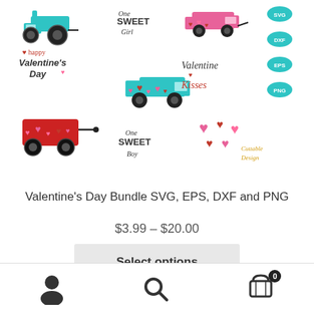[Figure (illustration): Valentine's Day SVG bundle preview showing tractor with hearts, trucks with hearts, wagons with hearts, text designs (One Sweet Girl, Happy Valentine's Day, Valentine Kisses, One Sweet Boy), hearts cluster, and format badges (SVG, DXF, EPS, PNG) with Cuttable Design branding]
Valentine's Day Bundle SVG, EPS, DXF and PNG
$3.99 – $20.00
Select options
user icon, search icon, cart icon with 0